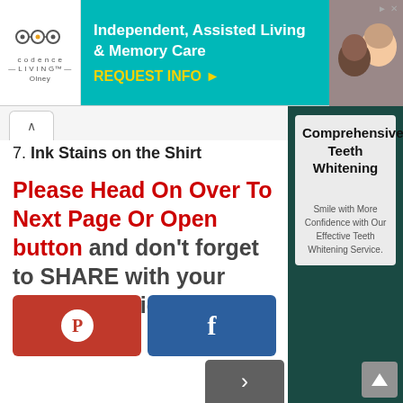[Figure (infographic): Advertisement banner for Cadence Living Olney - Independent, Assisted Living & Memory Care with REQUEST INFO button]
7. Ink Stains on the Shirt
Please Head On Over To Next Page Or Open button and don't forget to SHARE with your Facebook friends
[Figure (infographic): Pinterest share button (red)]
[Figure (infographic): Facebook share button (blue)]
[Figure (infographic): Right sidebar advertisement: Comprehensive Teeth Whitening - Smile with More Confidence with Our Effective Teeth Whitening Service.]